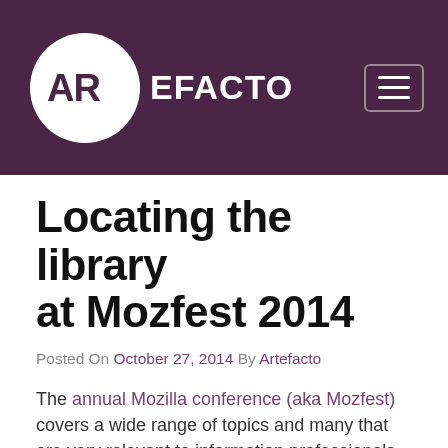ARTEFACTO
Locating the library at Mozfest 2014
Posted On October 27, 2014 By Artefacto
The annual Mozilla conference (aka Mozfest) covers a wide range of topics and many that are very relevant to information professionals, including many on the ‘Build and Teach the Web’ track and others from across the other 11 tracks that formed the 3-day event. The